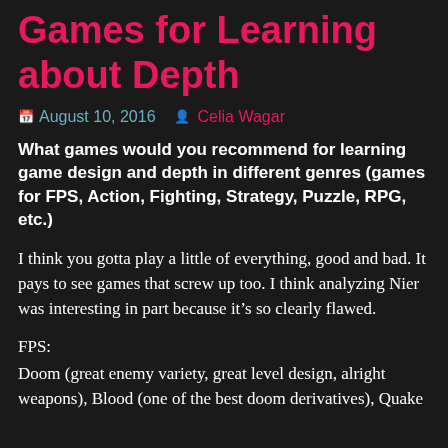Games for Learning about Depth
August 10, 2016  Celia Wagar
What games would you recommend for learning game design and depth in different genres (games for FPS, Action, Fighting, Strategy, Puzzle, RPG, etc.)
I think you gotta play a little of everything, good and bad. It pays to see games that screw up too. I think analyzing Nier was interesting in part because it’s so clearly flawed.
FPS:
Doom (great enemy variety, great level design, alright weapons), Blood (one of the best doom derivatives), Quake (
(also great level design, great enemies, great...